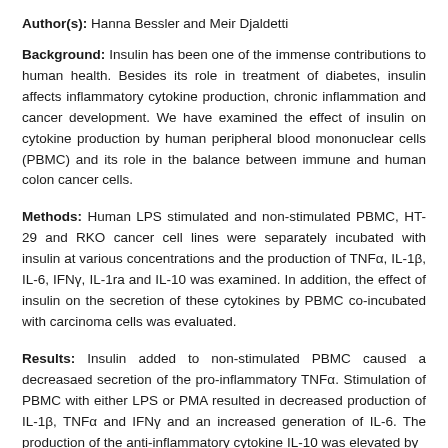Author(s): Hanna Bessler and Meir Djaldetti
Background: Insulin has been one of the immense contributions to human health. Besides its role in treatment of diabetes, insulin affects inflammatory cytokine production, chronic inflammation and cancer development. We have examined the effect of insulin on cytokine production by human peripheral blood mononuclear cells (PBMC) and its role in the balance between immune and human colon cancer cells.
Methods: Human LPS stimulated and non-stimulated PBMC, HT-29 and RKO cancer cell lines were separately incubated with insulin at various concentrations and the production of TNFα, IL-1β, IL-6, IFNγ, IL-1ra and IL-10 was examined. In addition, the effect of insulin on the secretion of these cytokines by PBMC co-incubated with carcinoma cells was evaluated.
Results: Insulin added to non-stimulated PBMC caused a decreasaed secretion of the pro-inflammatory TNFα. Stimulation of PBMC with either LPS or PMA resulted in decreased production of IL-1β, TNFα and IFNγ and an increased generation of IL-6. The production of the anti-inflammatory cytokine IL-10 was elevated by